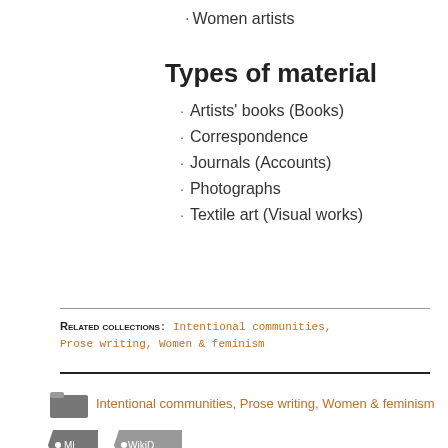Women artists
Types of material
Artists' books (Books)
Correspondence
Journals (Accounts)
Photographs
Textile art (Visual works)
RELATED COLLECTIONS: Intentional communities, Prose writing, Women & feminism
Intentional communities, Prose writing, Women & feminism
[Figure (other): Two tag/label icons in gray with small text labels]